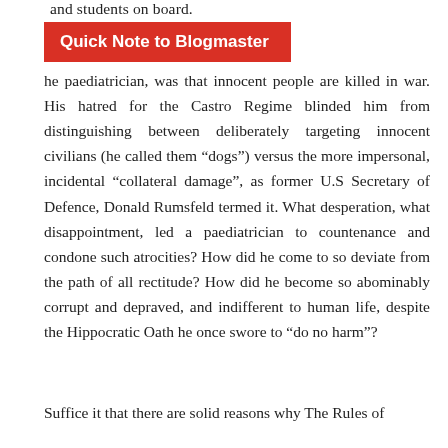and students on board.
[Figure (other): Red banner/callout box with white text reading 'Quick Note to Blogmaster']
he paediatrician, was that innocent people are killed in war. His hatred for the Castro Regime blinded him from distinguishing between deliberately targeting innocent civilians (he called them “dogs”) versus the more impersonal, incidental “collateral damage”, as former U.S Secretary of Defence, Donald Rumsfeld termed it. What desperation, what disappointment, led a paediatrician to countenance and condone such atrocities? How did he come to so deviate from the path of all rectitude? How did he become so abominably corrupt and depraved, and indifferent to human life, despite the Hippocratic Oath he once swore to “do no harm”?
Suffice it that there are solid reasons why The Rules of